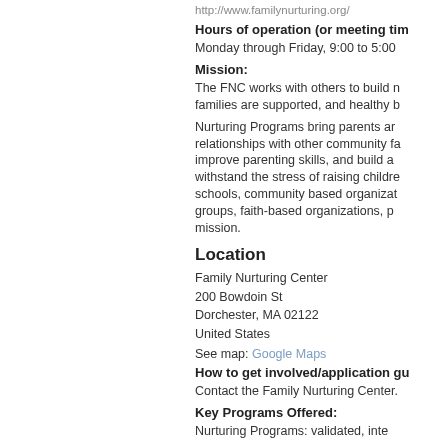http://www.familynurturing.org/
Hours of operation (or meeting tim
Monday through Friday, 9:00 to 5:00
Mission:
The FNC works with others to build n families are supported, and healthy b
Nurturing Programs bring parents ar relationships with other community fa improve parenting skills, and build a withstand the stress of raising childre schools, community based organizat groups, faith-based organizations, p mission.
Location
Family Nurturing Center
200 Bowdoin St
Dorchester, MA 02122
United States
See map: Google Maps
How to get involved/application gu
Contact the Family Nurturing Center.
Key Programs Offered:
Nurturing Programs: validated, inte